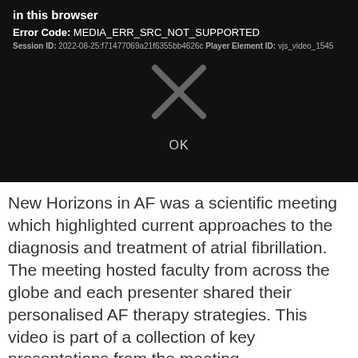in this browser
Error Code: MEDIA_ERR_SRC_NOT_SUPPORTED
Session ID: 2022-08-25:f71477069a21f6355bb4626c Player Element ID: vjs_video_1545
[Figure (other): Large X mark icon indicating video playback error]
OK
New Horizons in AF was a scientific meeting which highlighted current approaches to the diagnosis and treatment of atrial fibrillation. The meeting hosted faculty from across the globe and each presenter shared their personalised AF therapy strategies. This video is part of a collection of key presentations from the meeting.